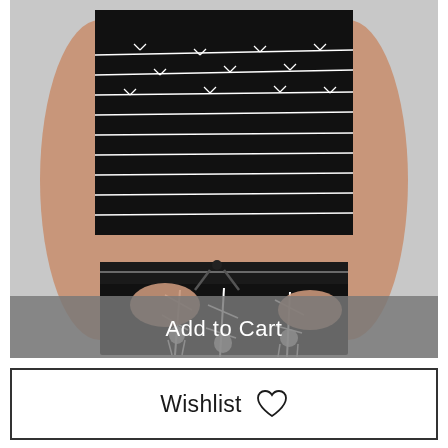[Figure (photo): Photo of a person wearing a black crop top with white barbed wire stripe pattern and black jogger pants with white barbed wire and rose vertical print pattern, hands in pockets, gray background.]
Add to Cart
Wishlist ♡